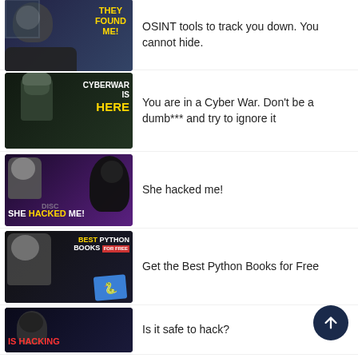[Figure (screenshot): Thumbnail: 'They Found Me!' with hooded figure and man's face. Text overlay in yellow.]
OSINT tools to track you down. You cannot hide.
[Figure (screenshot): Thumbnail: 'Cyberwar is HERE' with soldier figure in dark background.]
You are in a Cyber War. Don't be a dumb*** and try to ignore it
[Figure (screenshot): Thumbnail: 'SHE HACKED ME!' with hooded figure and man's face.]
She hacked me!
[Figure (screenshot): Thumbnail: 'BEST PYTHON BOOKS FOR FREE' with Python logo book.]
Get the Best Python Books for Free
[Figure (screenshot): Thumbnail: 'IS HACKING' with masked figure.]
Is it safe to hack?